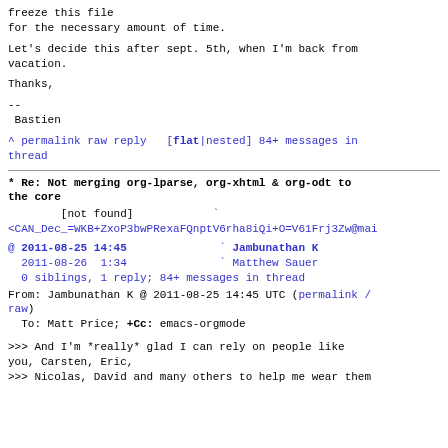freeze this file
for the necessary amount of time.
Let's decide this after sept. 5th, when I'm back from vacation.
Thanks,
--
 Bastien
^ permalink raw reply   [flat|nested] 84+ messages in thread
* Re: Not merging org-lparse, org-xhtml & org-odt to the core
[not found]
<CAN_Dec_=WKB+ZxoP3bwPRexaFQnptV6rha8iQi+O=V61Frj3Zw@mai
@ 2011-08-25 14:45              ` Jambunathan K
  2011-08-26  1:34              ` Matthew Sauer
  0 siblings, 1 reply; 84+ messages in thread
From: Jambunathan K @ 2011-08-25 14:45 UTC (permalink / raw)
  To: Matt Price; +Cc: emacs-orgmode
>>> And I'm *really* glad I can rely on people like you, Carsten, Eric,
>>> Nicolas, David and many others to help me wear them